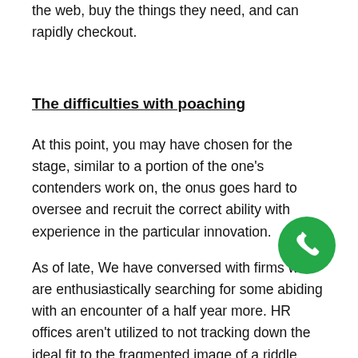the web, buy the things they need, and can rapidly checkout.
The difficulties with poaching
At this point, you may have chosen for the stage, similar to a portion of the one's contenders work on, the onus goes hard to oversee and recruit the correct ability with experience in the particular innovation.
As of late, We have conversed with firms who are enthusiastically searching for some abiding with an encounter of a half year more. HR offices aren't utilized to not tracking down the ideal fit to the fragmented image of a riddle. They truly don't get it and aren't